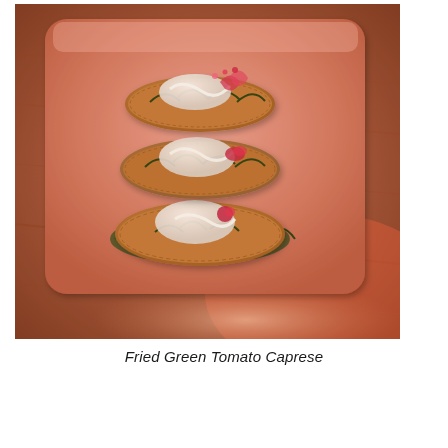[Figure (photo): A photograph of Fried Green Tomato Caprese dish: several fried green tomato slices arranged on a long rectangular pink/salmon-colored plate, topped with fresh mozzarella, herbs (basil), and a drizzle of cream sauce, with red accents (possibly tomato or pickled onion). The plate sits on a warm wooden table with reddish ambient lighting.]
Fried Green Tomato Caprese